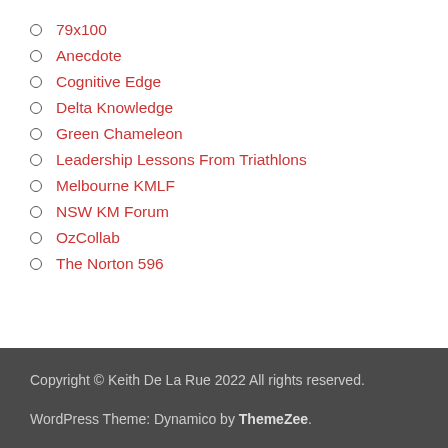79x100
Anecdote
Cognitive Edge
Delta Knowledge
Green Chameleon
Leadership Lessons From Triathlons
Melbourne KMLF
NSW KM Forum
OzCollab
The Norton 596
Copyright © Keith De La Rue 2022 All rights reserved.
WordPress Theme: Dynamico by ThemeZee.